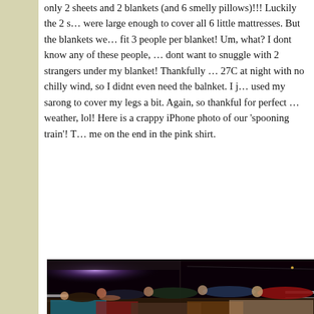only 2 sheets and 2 blankets (and 6 smelly pillows)!!! Luckily the 2 sheets were large enough to cover all 6 little mattresses. But the blankets were fit 3 people per blanket! Um, what? I dont know any of these people, and dont want to snuggle with 2 strangers under my blanket! Thankfully it was 27C at night with no chilly wind, so I didnt even need the balnket. I just used my sarong to cover my legs a bit. Again, so thankful for perfect weather, lol! Here is a crappy iPhone photo of our 'spooning train'! Thats me on the end in the pink shirt.
[Figure (photo): A nighttime photo of several people lying side by side on mattresses on what appears to be an outdoor deck or platform of a boat/train, in a 'spooning train' arrangement. People are lying on colorful blankets and mattresses. One person in a red shirt is visible on the right end. The setting is dark with some light visible in the background and white railings.]